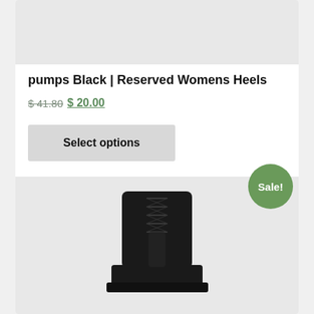[Figure (photo): Top product image placeholder - light gray background]
pumps Black | Reserved Womens Heels
$ 41.80 $ 20.00
Select options
[Figure (photo): Black lace-up ankle boot shown on light gray background with green Sale! badge]